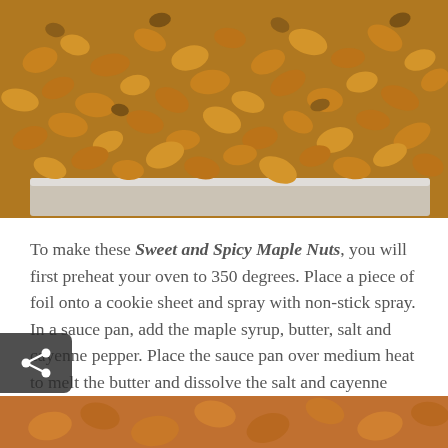[Figure (photo): Close-up photograph of Sweet and Spicy Maple Nuts (cashews and mixed nuts) spread on a foil-lined baking sheet, golden-brown and glazed.]
To make these Sweet and Spicy Maple Nuts, you will first preheat your oven to 350 degrees. Place a piece of foil onto a cookie sheet and spray with non-stick spray. In a sauce pan, add the maple syrup, butter, salt and cayenne pepper. Place the sauce pan over medium heat to melt the butter and dissolve the salt and cayenne pepper. You are not going to boil this liquid. When the maple syrups mixture just starts to bubble around the edges, remove it from heat.
[Figure (photo): Partial view of nuts at the bottom of the page.]